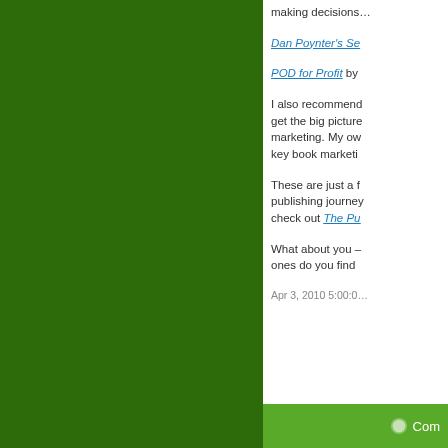making decisions...
Dan Poynter's Se...
POD for Profit by...
I also recommend... get the big picture... marketing. My ow... key book marketi...
These are just a f... publishing journey... check out The Pu...
What about you – ones do you find...
Apr 3, 2010 5:00:00...
Com...